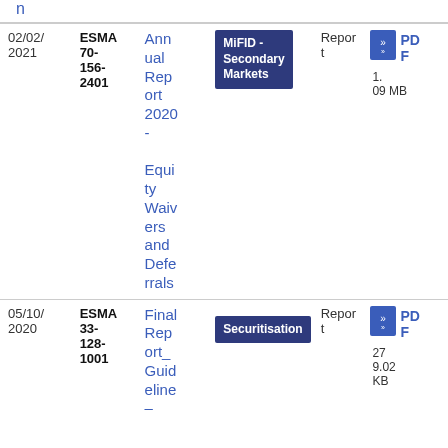| Date | Reference | Title | Topic | Type | Download |
| --- | --- | --- | --- | --- | --- |
| 02/02/2021 | ESMA 70-156-2401 | Annual Report 2020 - Equity Waivers and Deferrals | MiFID - Secondary Markets | Report | PDF 1.09 MB |
| 05/10/2020 | ESMA 33-128-1001 | Final Report_ Guideline – | Securitisation | Report | PDF 279.02 KB |